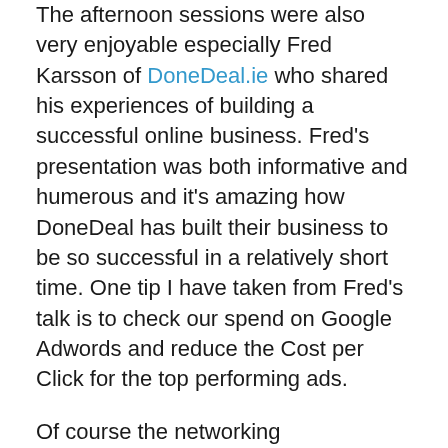The afternoon sessions were also very enjoyable especially Fred Karsson of DoneDeal.ie who shared his experiences of building a successful online business. Fred's presentation was both informative and humerous and it's amazing how DoneDeal has built their business to be so successful in a relatively short time. One tip I have taken from Fred's talk is to check our spend on Google Adwords and reduce the Cost per Click for the top performing ads.
Of course the networking opportunities are very important too. I met Liz from StyleBible– who had very kindly written a review of PuddleDucks on her site. I had a long chat too with Roseanne of IIA blog fame about Twitter (she live-twittered the event), blogging and how her kids love wearing their PuddleDucks “fireman’s trousers”.
Overall very enjoyable day. The short all the organising...